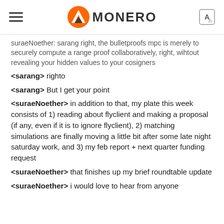MONERO
suraeNoether: sarang right, the bulletproofs mpc is merely to securely compute a range proof collaboratively, right, wihtout revealing your hidden values to your cosigners
<sarang> righto
<sarang> But I get your point
<suraeNoether> in addition to that, my plate this week consists of 1) reading about flyclient and making a proposal (if any, even if it is to ignore flyclient), 2) matching simulations are finally moving a little bit after some late night saturday work, and 3) my feb report + next quarter funding request
<suraeNoether> that finishes up my brief roundtable update
<suraeNoether> i would love to hear from anyone